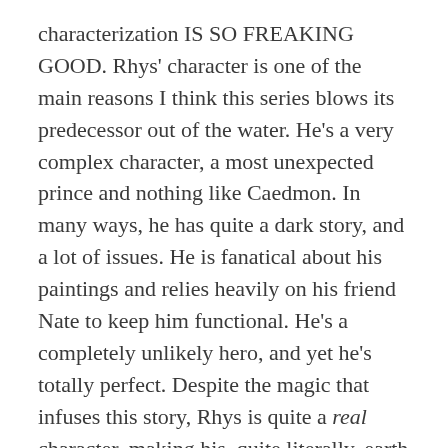characterization IS SO FREAKING GOOD. Rhys' character is one of the main reasons I think this series blows its predecessor out of the water. He's a very complex character, a most unexpected prince and nothing like Caedmon. In many ways, he has quite a dark story, and a lot of issues. He is fanatical about his paintings and relies heavily on his friend Nate to keep him functional. He's a completely unlikely hero, and yet he's totally perfect. Despite the magic that infuses this story, Rhys is quite a real character, making his, quite literally, earth shaking love for Faedrah seem all the more intense.
Their relationship is...well... phwoar. Rhys is all alpha sex god, and even though Faedrah seems fragile and innocent at times, Rhys has certainly